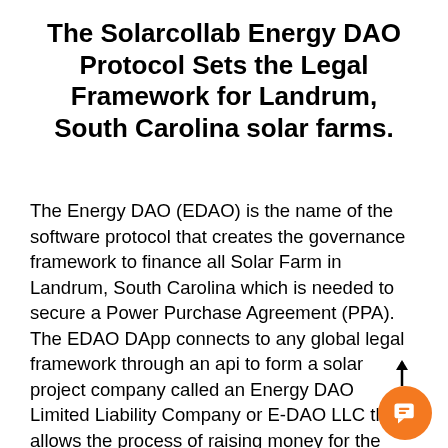The Solarcollab Energy DAO Protocol Sets the Legal Framework for Landrum, South Carolina solar farms.
The Energy DAO (EDAO) is the name of the software protocol that creates the governance framework to finance all Solar Farm in Landrum, South Carolina which is needed to secure a Power Purchase Agreement (PPA). The EDAO DApp connects to any global legal framework through an api to form a solar project company called an Energy DAO Limited Liability Company or E-DAO LLC that allows the process of raising money for the Landrum, South Carolina solar farm through the sale of solar project shares on our crowd-funding portal.